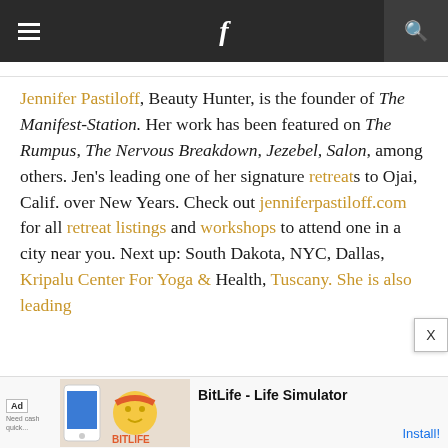Navigation header bar with hamburger menu, Facebook icon, and search icon
Jennifer Pastiloff, Beauty Hunter, is the founder of The Manifest-Station. Her work has been featured on The Rumpus, The Nervous Breakdown, Jezebel, Salon, among others. Jen's leading one of her signature retreats to Ojai, Calif. over New Years. Check out jenniferpastiloff.com for all retreat listings and workshops to attend one in a city near you. Next up: South Dakota, NYC, Dallas, Kripalu Center For Yoga & Health, Tuscany. She is also leading
[Figure (screenshot): BitLife - Life Simulator advertisement banner at bottom of page]